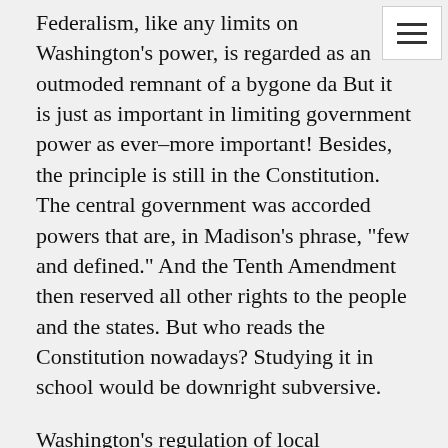Federalism, like any limits on Washington's power, is regarded as an outmoded remnant of a bygone da… But it is just as important in limiting government power as ever–more important! Besides, the principle is still in the Constitution. The central government was accorded powers that are, in Madison's phrase, "few and defined." And the Tenth Amendment then reserved all other rights to the people and the states. But who reads the Constitution nowadays? Studying it in school would be downright subversive.
Washington's regulation of local government schools is bad enough. But it is nothing more than an outgrowth of any government involvement in education. Once the principle is established that the political authorities should control schools, it is mere quibbling which level